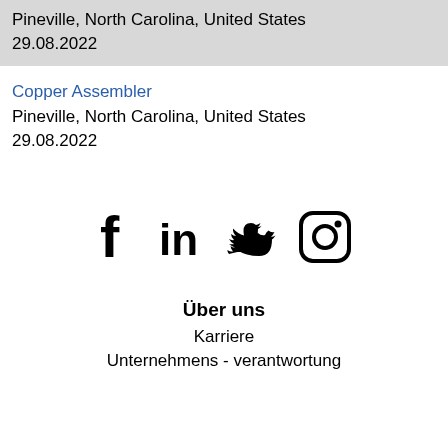Pineville, North Carolina, United States
29.08.2022
Copper Assembler
Pineville, North Carolina, United States
29.08.2022
[Figure (illustration): Social media icons: Facebook, LinkedIn, Twitter, Instagram]
Über uns
Karriere
Unternehmens - verantwortung